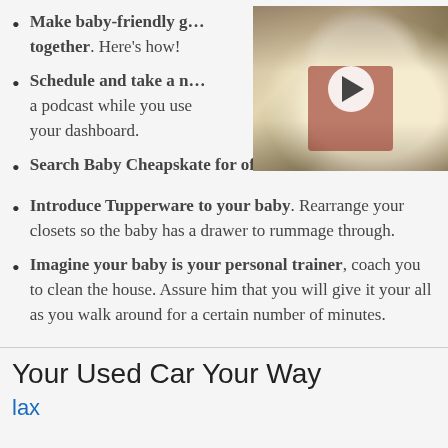Make baby-friendly g… together. Here's how!
Schedule and take a n… a podcast while you use… your dashboard.
[Figure (photo): Video thumbnail showing a large white fluffy dog lying on colorful blankets, with a play button overlay. The dog appears to be smiling and wearing a bandana.]
Search Baby Cheapskate for offers.
Introduce Tupperware to your baby. Rearrange your closets so the baby has a drawer to rummage through.
Imagine your baby is your personal trainer, coach you to clean the house. Assure him that you will give it your all as you walk around for a certain number of minutes.
Your Used Car Your Way
lax